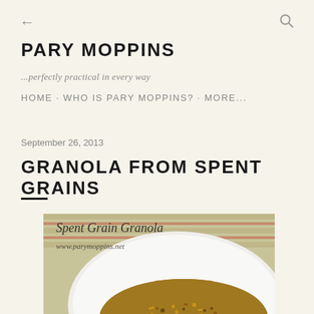← [back] [search icon]
PARY MOPPINS
...perfectly practical in every way
HOME · WHO IS PARY MOPPINS? · MORE...
September 26, 2013
GRANOLA FROM SPENT GRAINS
[Figure (photo): Photo of a white bowl filled with spent grain granola, with text overlay reading 'Spent Grain Granola' and 'www.parymoppins.net'. A striped cloth is visible in the background.]